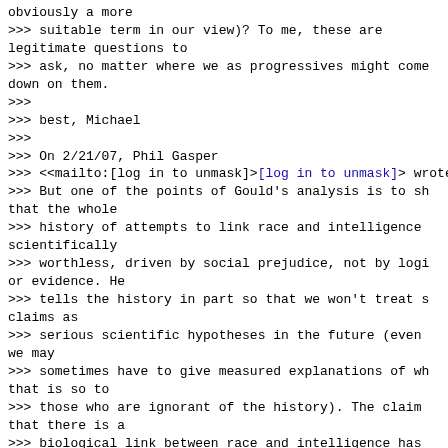obviously a more
>>> suitable term in our view)? To me, these are legitimate questions to
>>> ask, no matter where we as progressives might come down on them.
>>>
>>> best, Michael
>>>
>>> On 2/21/07, Phil Gasper
>>> <<mailto:[log in to unmask]>[log in to unmask]> wrote:
>>> But one of the points of Gould's analysis is to sh that the whole
>>> history of attempts to link race and intelligence scientifically
>>> worthless, driven by social prejudice, not by logi or evidence. He
>>> tells the history in part so that we won't treat s claims as
>>> serious scientific hypotheses in the future (even we may
>>> sometimes have to give measured explanations of wh that is so to
>>> those who are ignorant of the history). The claim that there is a
>>> biological link between race and intelligence has about as much
>>> credibility as the claim that there is a biologica link between
>>> religion and sense of humor. --PG
>>>